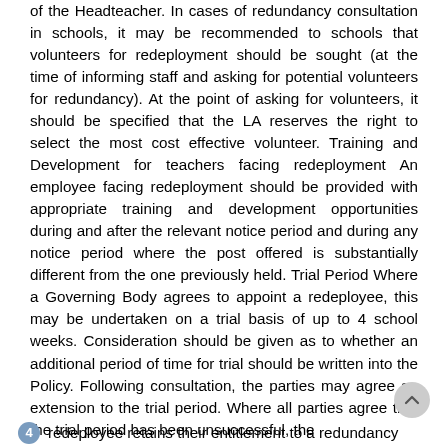of the Headteacher. In cases of redundancy consultation in schools, it may be recommended to schools that volunteers for redeployment should be sought (at the time of informing staff and asking for potential volunteers for redundancy). At the point of asking for volunteers, it should be specified that the LA reserves the right to select the most cost effective volunteer. Training and Development for teachers facing redeployment An employee facing redeployment should be provided with appropriate training and development opportunities during and after the relevant notice period and during any notice period where the post offered is substantially different from the one previously held. Trial Period Where a Governing Body agrees to appoint a redeployee, this may be undertaken on a trial basis of up to 4 school weeks. Consideration should be given as to whether an additional period of time for trial should be written into the Policy. Following consultation, the parties may agree an extension to the trial period. Where all parties agree that the trial period has been unsuccessful, the
4  redeployee retains their entitlement to a redundancy